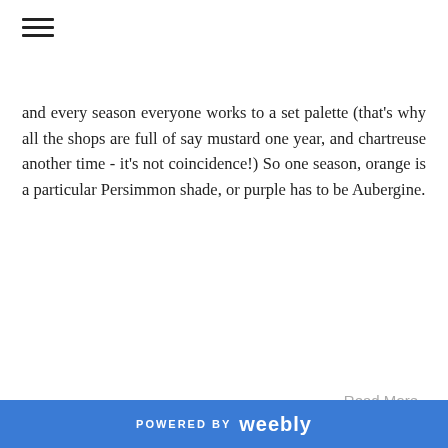[Figure (other): Hamburger menu icon (three horizontal lines)]
and every season everyone works to a set palette (that's why all the shops are full of say mustard one year, and chartreuse another time - it's not coincidence!) So one season, orange is a particular Persimmon shade, or purple has to be Aubergine.
Read More
Tweet
0 Comments
Hand painted Christmas Window decoration by Jo Brown, illustrator.
12/23/2021  0 Comments
POWERED BY weebly